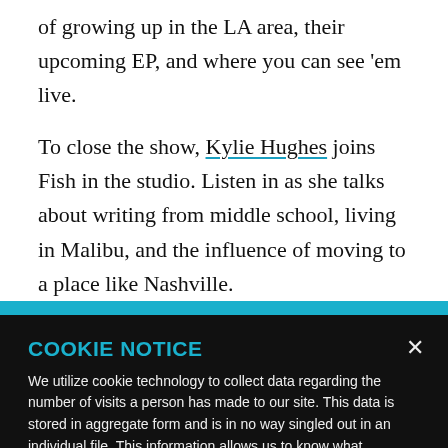of growing up in the LA area, their upcoming EP, and where you can see ‘em live.
To close the show, Kylie Hughes joins Fish in the studio. Listen in as she talks about writing from middle school, living in Malibu, and the influence of moving to a place like Nashville.
COOKIE NOTICE
We utilize cookie technology to collect data regarding the number of visits a person has made to our site. This data is stored in aggregate form and is in no way singled out in an individual file. This information allows us to know what pages/sites are of interest to our users and what pages/sites may be of less interest. See more